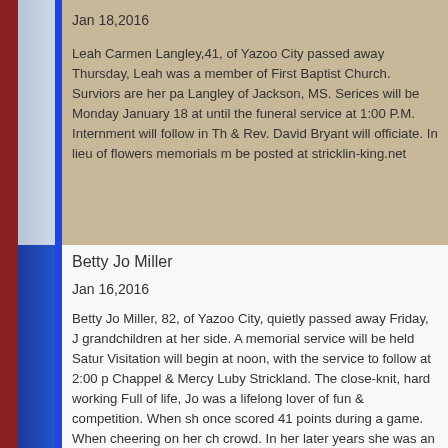Jan 18,2016
Leah Carmen Langley,41, of Yazoo City passed away Thursday, Leah was a member of First Baptist Church. Surviors are her pa Langley of Jackson, MS. Serices will be Monday January 18 at until the funeral service at 1:00 P.M. Internment will follow in Th & Rev. David Bryant will officiate. In lieu of flowers memorials m be posted at stricklin-king.net
Betty Jo Miller
Jan 16,2016
Betty Jo Miller, 82, of Yazoo City, quietly passed away Friday, J grandchildren at her side. A memorial service will be held Satur Visitation will begin at noon, with the service to follow at 2:00 p Chappel & Mercy Luby Strickland. The close-knit, hard working Full of life, Jo was a lifelong lover of fun & competition. When sh once scored 41 points during a game. When cheering on her ch crowd. In her later years she was an avid Rummikub player spe